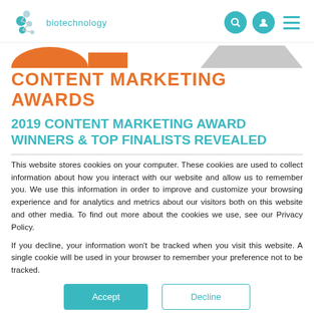biotechnology
[Figure (illustration): Orange arc/semicircle and rectangle shapes on left, gray trapezoid on right — decorative banner elements]
CONTENT MARKETING AWARDS
2019 CONTENT MARKETING AWARD WINNERS & TOP FINALISTS REVEALED
This website stores cookies on your computer. These cookies are used to collect information about how you interact with our website and allow us to remember you. We use this information in order to improve and customize your browsing experience and for analytics and metrics about our visitors both on this website and other media. To find out more about the cookies we use, see our Privacy Policy.
If you decline, your information won't be tracked when you visit this website. A single cookie will be used in your browser to remember your preference not to be tracked.
Accept | Decline